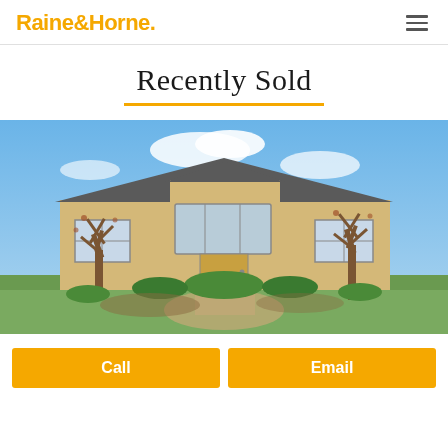Raine&Horne.
Recently Sold
[Figure (photo): Exterior photo of a single-story brick house with large bay window, surrounded by bare deciduous trees and green shrubbery in the front yard, blue sky with clouds in background.]
Call
Email